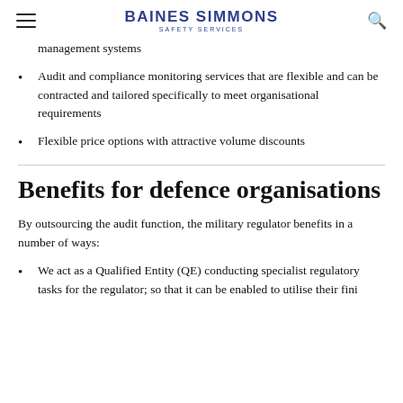BAINES SIMMONS SAFETY SERVICES
management systems
Audit and compliance monitoring services that are flexible and can be contracted and tailored specifically to meet organisational requirements
Flexible price options with attractive volume discounts
Benefits for defence organisations
By outsourcing the audit function, the military regulator benefits in a number of ways:
We act as a Qualified Entity (QE) conducting specialist regulatory tasks for the regulator; so that it can be enabled to utilise their finite...